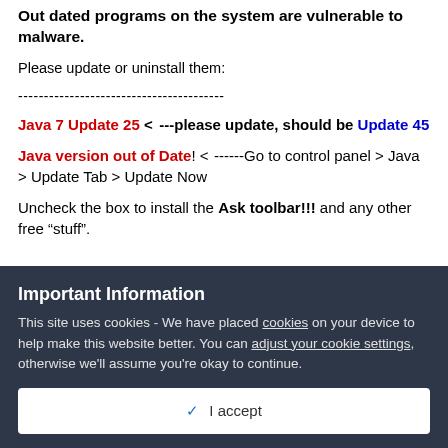Out dated programs on the system are vulnerable to malware.
Please update or uninstall them:
----------------------------------------
Java 7 Update 25 <--------please update, should be Update 45
Java version out of Date! <---------Go to control panel > Java > Update Tab > Update Now
Uncheck the box to install the Ask toolbar!!! and any other free "stuff".
Important Information
This site uses cookies - We have placed cookies on your device to help make this website better. You can adjust your cookie settings, otherwise we'll assume you're okay to continue.
✓ I accept